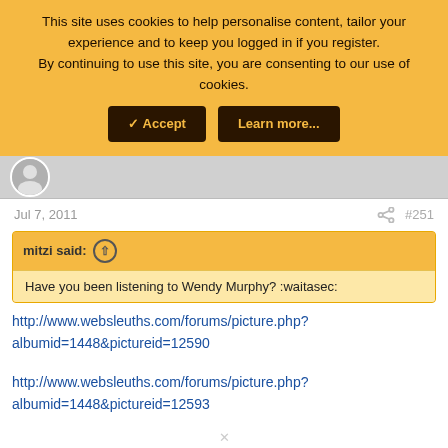This site uses cookies to help personalise content, tailor your experience and to keep you logged in if you register. By continuing to use this site, you are consenting to our use of cookies.
Jul 7, 2011  #251
mitzi said:
Have you been listening to Wendy Murphy? :waitasec:
http://www.websleuths.com/forums/picture.php?albumid=1448&pictureid=12590
http://www.websleuths.com/forums/picture.php?albumid=1448&pictureid=12593